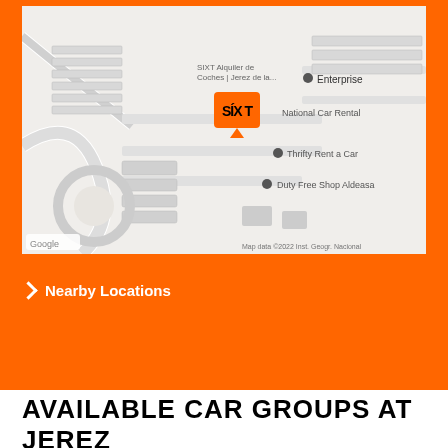[Figure (map): Google Maps screenshot showing SIXT car rental location at Jerez de la Frontera airport area, with nearby Enterprise, National Car Rental, Thrifty Rent a Car, and Duty Free Shop Aldeasa markers. SIXT logo shown as orange square map pin. Map data ©2022 Inst. Geogr. Nacional.]
Nearby Locations
AVAILABLE CAR GROUPS AT JEREZ